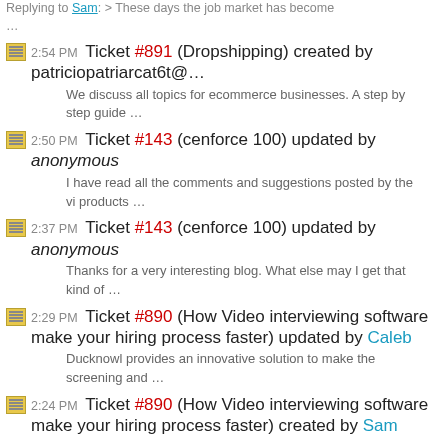Replying to Sam: > These days the job market has become …
2:54 PM Ticket #891 (Dropshipping) created by patriciopatriarcat6t@…
We discuss all topics for ecommerce businesses. A step by step guide …
2:50 PM Ticket #143 (cenforce 100) updated by anonymous
I have read all the comments and suggestions posted by the vi products …
2:37 PM Ticket #143 (cenforce 100) updated by anonymous
Thanks for a very interesting blog. What else may I get that kind of …
2:29 PM Ticket #890 (How Video interviewing software make your hiring process faster) updated by Caleb
Ducknowl provides an innovative solution to make the screening and …
2:24 PM Ticket #890 (How Video interviewing software make your hiring process faster) created by Sam